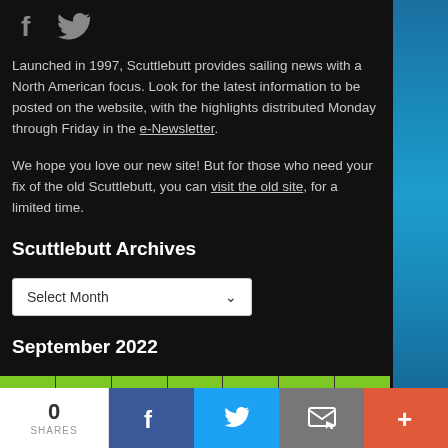[Figure (illustration): Social media icons: Facebook (f) and Twitter bird, in gray/dark style at top left]
Launched in 1997, Scuttlebutt provides sailing news with a North American focus. Look for the latest information to be posted on the website, with the highlights distributed Monday through Friday in the e-Newsletter.
We hope you love our new site! But for those who need your fix of the old Scuttlebutt, you can visit the old site, for a limited time.
Scuttlebutt Archives
Select Month
September 2022
[Figure (illustration): Green calendar header row with 7 columns separated by dark borders]
[Figure (illustration): Bottom share bar with 0 SHARES count, Facebook, Twitter, Email, and More (+) buttons in respective brand colors]